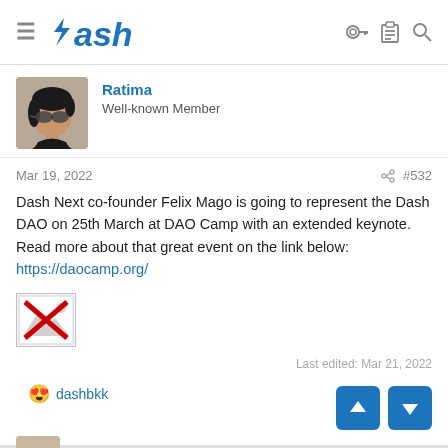Dash
Ratima
Well-known Member
Mar 19, 2022  #532
Dash Next co-founder Felix Mago is going to represent the Dash DAO on 25th March at DAO Camp with an extended keynote. Read more about that great event on the link below:
https://daocamp.org/
[Figure (other): Broken image placeholder with red X]
Last edited: Mar 21, 2022
😍 dashbkk